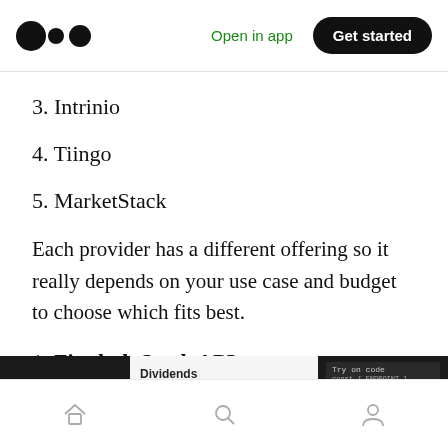Medium — Open in app | Get started
3. Intrinio
4. Tiingo
5. MarketStack
Each provider has a different offering so it really depends on your use case and budget to choose which fits best.
1. Finnhub Stock API
[Figure (screenshot): Partial screenshot of Finnhub website showing Dividends section and code sample panel]
Home | Search | Profile navigation icons